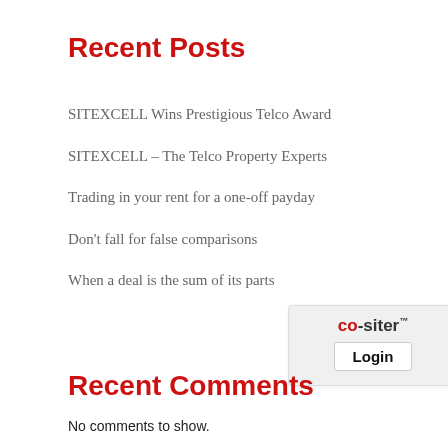Recent Posts
SITEXCELL Wins Prestigious Telco Award
SITEXCELL – The Telco Property Experts
Trading in your rent for a one-off payday
Don't fall for false comparisons
When a deal is the sum of its parts
[Figure (logo): CO-siter logo with Login button widget]
Recent Comments
No comments to show.